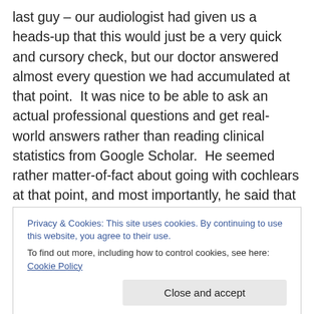last guy – our audiologist had given us a heads-up that this would just be a very quick and cursory check, but our doctor answered almost every question we had accumulated at that point.  It was nice to be able to ask an actual professional questions and get real-world answers rather than reading clinical statistics from Google Scholar.  He seemed rather matter-of-fact about going with cochlears at that point, and most importantly, he said that if that's the approach we were to take, he'd want to do so as early as possible.  The earliest he had implanted was eight months, but typically he could get them done by nine
Privacy & Cookies: This site uses cookies. By continuing to use this website, you agree to their use. To find out more, including how to control cookies, see here: Cookie Policy
through.